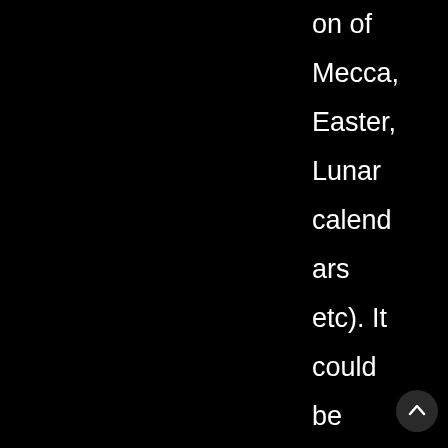on of Mecca, Easter, Lunar calendars etc). It could be argued that the heliocentric view posited by Copernicus inden